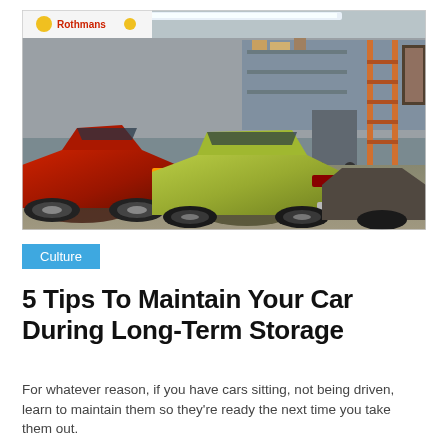[Figure (photo): Interior of a garage showing classic cars parked in a row. A red car is prominent on the left, a yellow-green car is in the center, and another car is partially visible on the right. A ladder, shelving, and workshop equipment are visible in the background. A Rothmans banner is partially visible at the top.]
Culture
5 Tips To Maintain Your Car During Long-Term Storage
For whatever reason, if you have cars sitting, not being driven, learn to maintain them so they're ready the next time you take them out.